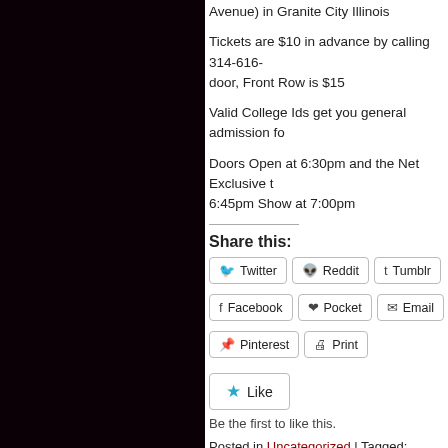Avenue) in Granite City Illinois
Tickets are $10 in advance by calling 314-616-... door, Front Row is $15
Valid College Ids get you general admission for...
Doors Open at 6:30pm and the Net Exclusive t... 6:45pm Show at 7:00pm
Share this:
Twitter | Reddit | Tumblr | Facebook | Pocket | Email | Pinterest | Print
Like — Be the first to like this.
Posted in Uncategorized | Tagged: Chuck Tay... Gargano, Team FIST | Leave a Comment »
Breaking news: St. Louis A...